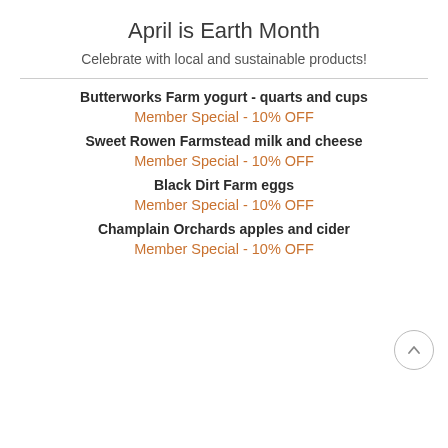April is Earth Month
Celebrate with local and sustainable products!
Butterworks Farm yogurt - quarts and cups
Member Special - 10% OFF
Sweet Rowen Farmstead milk and cheese
Member Special - 10% OFF
Black Dirt Farm eggs
Member Special - 10% OFF
Champlain Orchards apples and cider
Member Special - 10% OFF